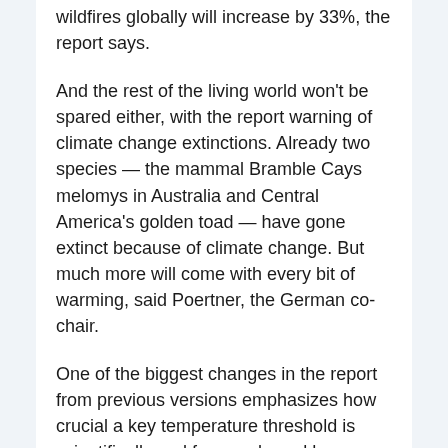wildfires globally will increase by 33%, the report says.
And the rest of the living world won't be spared either, with the report warning of climate change extinctions. Already two species — the mammal Bramble Cays melomys in Australia and Central America's golden toad — have gone extinct because of climate change. But much more will come with every bit of warming, said Poertner, the German co-chair.
One of the biggest changes in the report from previous versions emphasizes how crucial a key temperature threshold is scientifically and for people and how exceeding it, even if only a few decades, can cause permanent damage.